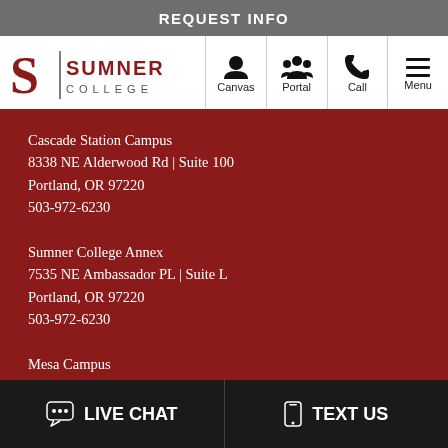REQUEST INFO
[Figure (logo): Sumner College logo with stylized S and vertical bar, text SUMNER COLLEGE]
Canvas
Portal
Call
Menu
Cascade Station Campus
8338 NE Alderwood Rd | Suite 100
Portland, OR 97220
503-972-6230
Sumner College Annex
7535 NE Ambassador PL | Suite L
Portland, OR 97220
503-972-6230
Mesa Campus
205 E Southern Avenue
Mesa AZ 85210
480-776-0070
LIVE CHAT
TEXT US